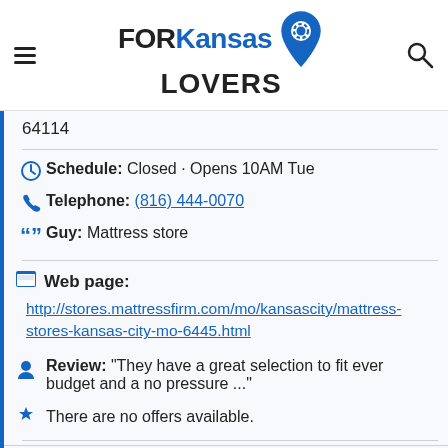[Figure (logo): FORKansasLOVERS website logo with location pin icon]
64114
Schedule: Closed · Opens 10AM Tue
Telephone: (816) 444-0070
Guy: Mattress store
Web page:
http://stores.mattressfirm.com/mo/kansascity/mattress-stores-kansas-city-mo-6445.html
Review: "They have a great selection to fit ever budget and a no pressure ..."
There are no offers available.
Near Mattress Firm State Line 89th:
a 12 meters away hawaiian lessons: Pokéloha